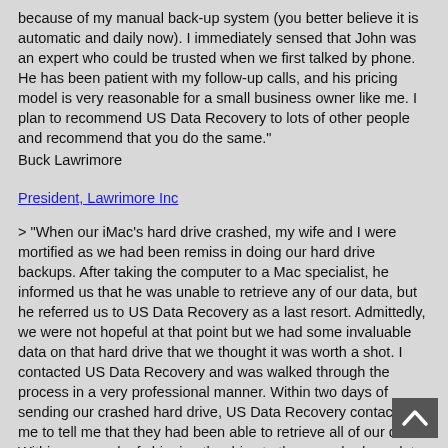because of my manual back-up system (you better believe it is automatic and daily now). I immediately sensed that John was an expert who could be trusted when we first talked by phone. He has been patient with my follow-up calls, and his pricing model is very reasonable for a small business owner like me. I plan to recommend US Data Recovery to lots of other people and recommend that you do the same."
Buck Lawrimore
President, Lawrimore Inc
> "When our iMac's hard drive crashed, my wife and I were mortified as we had been remiss in doing our hard drive backups. After taking the computer to a Mac specialist, he informed us that he was unable to retrieve any of our data, but he referred us to US Data Recovery as a last resort. Admittedly, we were not hopeful at that point but we had some invaluable data on that hard drive that we thought it was worth a shot. I contacted US Data Recovery and was walked through the process in a very professional manner. Within two days of sending our crashed hard drive, US Data Recovery contacted me to tell me that they had been able to retrieve all of our data. Within one week of shipping the drive to them, we had our data returned to us - it was more than worth the price. Additionally, US Data Recovery gave me some incredibly helpful advice and information for some go-forward data backup best practices. We cannot thank them enough for help they gave us and I will recommend them to everyone in need without reservation."